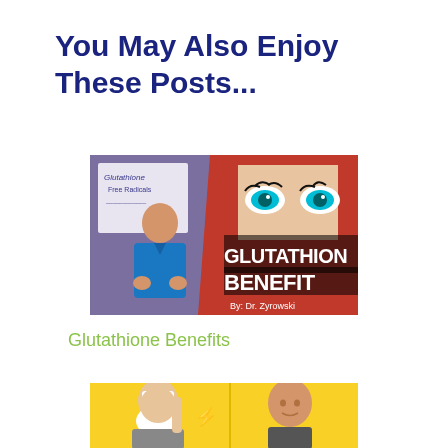You May Also Enjoy These Posts...
[Figure (photo): Video thumbnail showing a doctor in a blue shirt gesturing, with text 'GLUTATHION BENEFIT By: Dr. Zyrowski' and a woman's eyes on the right side against a red background]
Glutathione Benefits
[Figure (photo): Partial thumbnail showing two people on a yellow background, one older bearded man and one bald man]